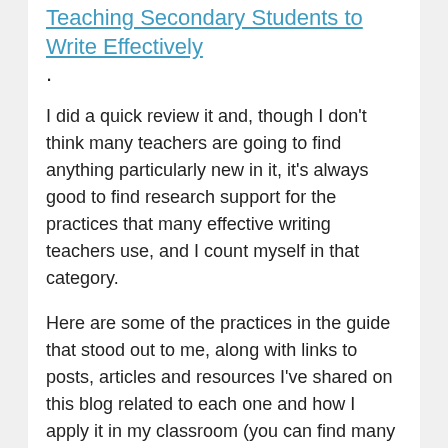Teaching Secondary Students to Write Effectively.
I did a quick review it and, though I don't think many teachers are going to find anything particularly new in it, it's always good to find research support for the practices that many effective writing teachers use, and I count myself in that category.
Here are some of the practices in the guide that stood out to me, along with links to posts, articles and resources I've shared on this blog related to each one and how I apply it in my classroom (you can find many more links at The Best Posts On Writing Instruction):
* Using K-W-L Charts as a pre-planning practice